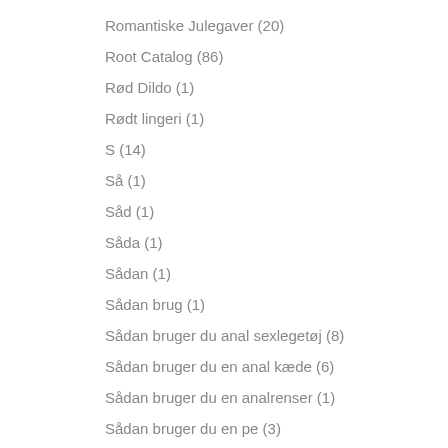Romantiske Julegaver (20)
Root Catalog (86)
Rød Dildo (1)
Rødt lingeri (1)
S (14)
Så (1)
Såd (1)
Såda (1)
Sådan (1)
Sådan brug (1)
Sådan bruger du anal sexlegetøj (8)
Sådan bruger du en anal kæde (6)
Sådan bruger du en analrenser (1)
Sådan bruger du en pe (3)
Sådan bruger du en penisring (17)